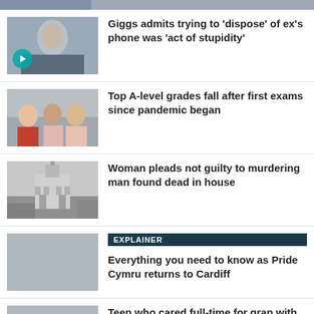[Figure (photo): Partial top strip of an image, cropped]
[Figure (photo): Man in suit (Ryan Giggs) with play button overlay]
Giggs admits trying to 'dispose' of ex's phone was 'act of stupidity'
[Figure (photo): Students looking at papers]
Top A-level grades fall after first exams since pandemic began
[Figure (photo): Court building exterior]
Woman pleads not guilty to murdering man found dead in house
[Figure (photo): Grey placeholder image]
EXPLAINER
Everything you need to know as Pride Cymru returns to Cardiff
[Figure (photo): Grey placeholder image]
Teen who cared full-time for gran with dementia achieves straight A*s